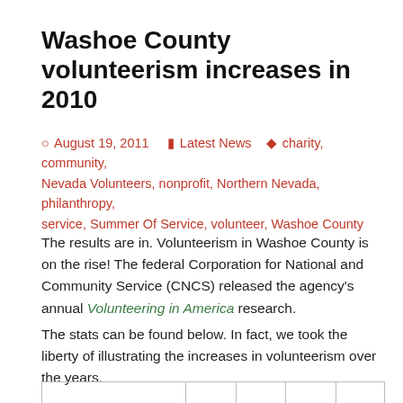Washoe County volunteerism increases in 2010
August 19, 2011   Latest News   charity, community, Nevada Volunteers, nonprofit, Northern Nevada, philanthropy, service, Summer Of Service, volunteer, Washoe County
The results are in. Volunteerism in Washoe County is on the rise! The federal Corporation for National and Community Service (CNCS) released the agency's annual Volunteering in America research.
The stats can be found below. In fact, we took the liberty of illustrating the increases in volunteerism over the years.
|  |  |  |  |  |
| --- | --- | --- | --- | --- |
|  |  |  |  |  |